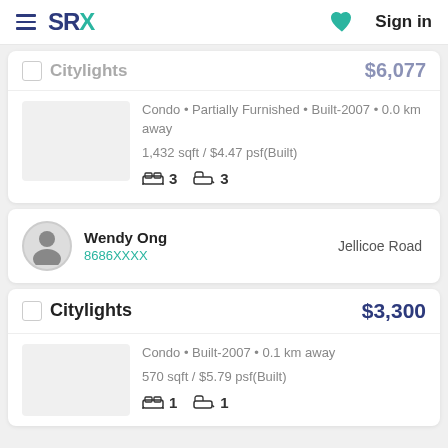SRX — Sign in
Citylights — $6,077
Condo • Partially Furnished • Built-2007 • 0.0 km away
1,432 sqft / $4.47 psf(Built)
3 bedrooms, 3 bathrooms
Wendy Ong — 8686XXXX — Jellicoe Road
Citylights — $3,300
Condo • Built-2007 • 0.1 km away
570 sqft / $5.79 psf(Built)
1 bedroom, 1 bathroom